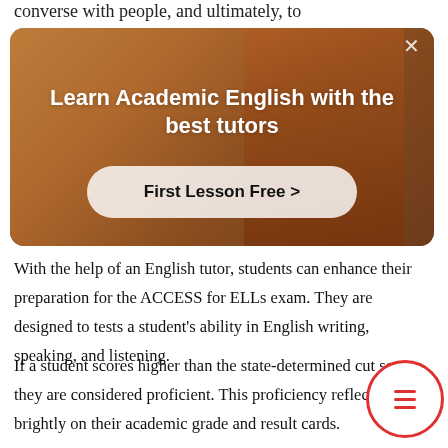converse with people, and ultimately, to
[Figure (screenshot): Advertisement overlay showing a person in a classroom setting with red top, with white bold text 'Learn Academic English with the best tutors' and a 'First Lesson Free >' call-to-action button on a semi-transparent white pill-shaped background. An X close button is in the top right corner.]
With the help of an English tutor, students can enhance their preparation for the ACCESS for ELLs exam. They are designed to tests a student's ability in English writing, speaking, and listening.
If a student scores higher than the state-determined cut score, they are considered proficient. This proficiency reflects brightly on their academic grade and result cards.